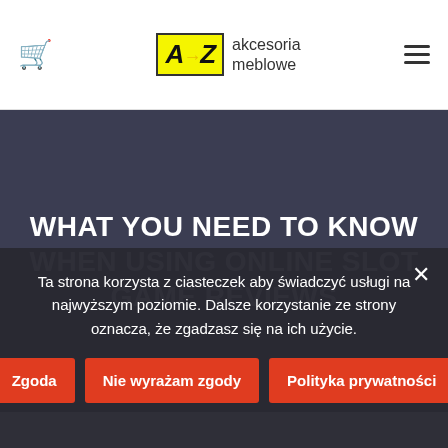akcesoria meblowe — cart icon and hamburger menu header
WHAT YOU NEED TO KNOW WHEN USING ONLINE SLOT GAME REVIEWS
Ta strona korzysta z ciasteczek aby świadczyć usługi na najwyższym poziomie. Dalsze korzystanie ze strony oznacza, że zgadzasz się na ich użycie.
Zgoda
Nie wyrażam zgody
Polityka prywatności